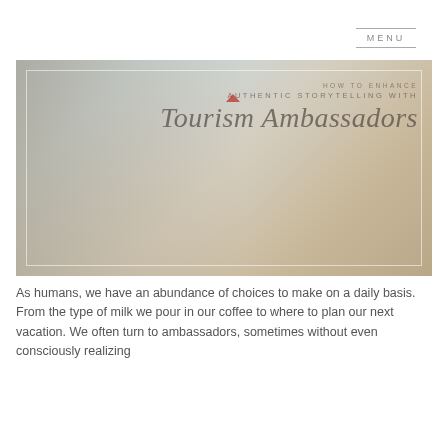MENU
[Figure (photo): Hero banner image showing a family riding bicycles near a coastal/beach landscape at sunset. Overlaid text reads 'HOW TO ENHANCE / AUTHENTIC STORYTELLING WITH / Tourism Ambassadors' with a red triangle accent above the letter 'u' in Tourism. Inner white border frame surrounds the image.]
As humans, we have an abundance of choices to make on a daily basis. From the type of milk we pour in our coffee to where to plan our next vacation. We often turn to ambassadors, sometimes without even consciously realizing